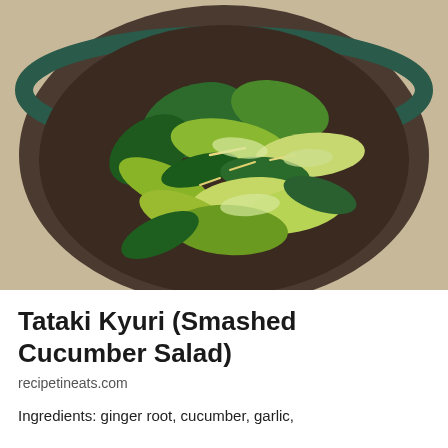[Figure (photo): A dark ceramic bowl filled with smashed cucumber pieces, showing green cucumber skin and pale interior flesh, with visible ginger shreds. The bowl sits on a light wooden surface.]
Tataki Kyuri (Smashed Cucumber Salad)
recipetineats.com
Ingredients: ginger root, cucumber, garlic,